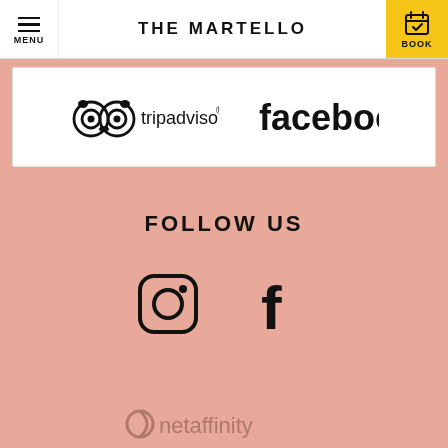THE MARTELLO
[Figure (logo): TripAdvisor and Facebook logos side by side in a white box]
FOLLOW US
[Figure (logo): Instagram and Facebook social media icons]
[Figure (logo): Netaffinity logo]